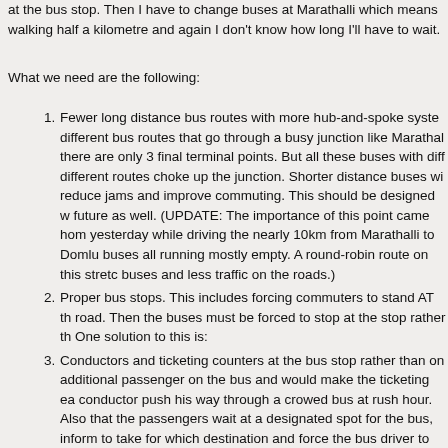at the bus stop. Then I have to change buses at Marathalli which means walking half a kilometre and again I don't know how long I'll have to wait.
What we need are the following:
Fewer long distance bus routes with more hub-and-spoke system. There are many different bus routes that go through a busy junction like Marathalli even though there are only 3 final terminal points. But all these buses with different routes choke up the junction. Shorter distance buses will reduce jams and improve commuting. This should be designed with the future as well. (UPDATE: The importance of this point came home yesterday while driving the nearly 10km from Marathalli to Domlur with buses all running mostly empty. A round-robin route on this stretch would mean more buses and less traffic on the roads.)
Proper bus stops. This includes forcing commuters to stand AT the road. Then the buses must be forced to stop at the stop rather than elsewhere. One solution to this is:
Conductors and ticketing counters at the bus stop rather than on the bus. This saves additional passenger on the bus and would make the ticketing easier than having the conductor push his way through a crowed bus at rush hour. Also this would ensure that the passengers wait at a designated spot for the bus, inform them which bus to take for which destination and force the bus driver to stop at the stop.